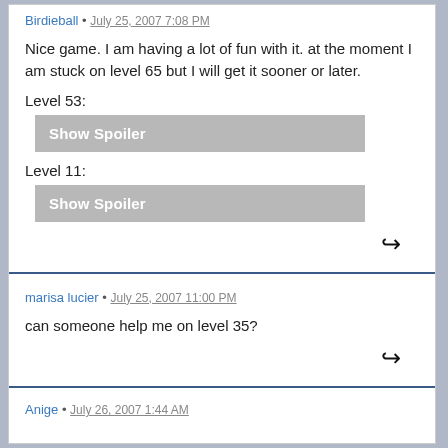Birdieball • July 25, 2007 7:08 PM
Nice game. I am having a lot of fun with it. at the moment I am stuck on level 65 but I will get it sooner or later.
Level 53:
[Figure (other): Show Spoiler button (grey)]
Level 11:
[Figure (other): Show Spoiler button (grey)]
marisa lucier • July 25, 2007 11:00 PM
can someone help me on level 35?
Anige • July 26, 2007 1:44 AM